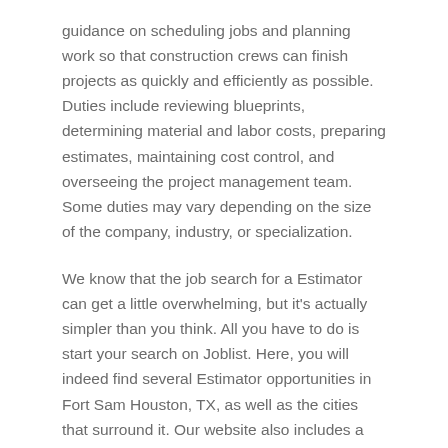guidance on scheduling jobs and planning work so that construction crews can finish projects as quickly and efficiently as possible. Duties include reviewing blueprints, determining material and labor costs, preparing estimates, maintaining cost control, and overseeing the project management team. Some duties may vary depending on the size of the company, industry, or specialization.
We know that the job search for a Estimator can get a little overwhelming, but it's actually simpler than you think. All you have to do is start your search on Joblist. Here, you will indeed find several Estimator opportunities in Fort Sam Houston, TX, as well as the cities that surround it. Our website also includes a blog filled with helpful career advice to help you reach your Estimator goals, as well as tips on how to stand out while you're looking for a Estimator job. If you find that there aren't as many Estimator opportunities as you had hoped for in Fort Sam Houston, TX, scroll down to find nearby locations with opportunities in this field, or explore all job opportunities in Fort